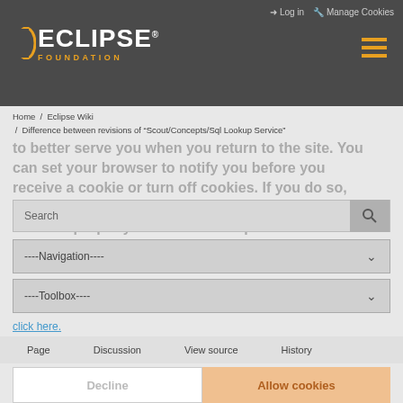Log in  Manage Cookies  Eclipse Foundation
Home / Eclipse Wiki / Difference between revisions of "Scout/Concepts/Sql Lookup Service"
to better serve you when you return to the site. You can set your browser to notify you before you receive a cookie or turn off cookies. If you do so, however, some areas of some sites may not function properly. To read the Eclipse Foundation Privacy Policy click here.
Search
----Navigation----
----Toolbox----
Page   Discussion   View source   History
Decline    Allow cookies
Difference between